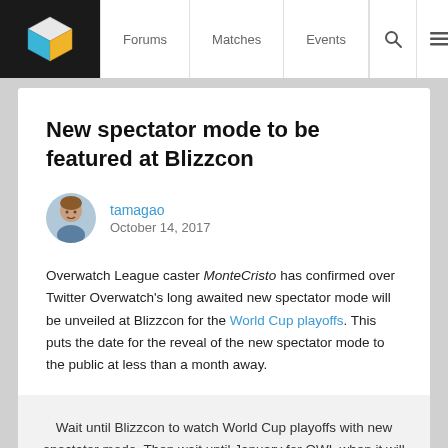Forums | Matches | Events
New spectator mode to be featured at Blizzcon
tamagao
October 14, 2017
Overwatch League caster MonteCristo has confirmed over Twitter Overwatch's long awaited new spectator mode will be unveiled at Blizzcon for the World Cup playoffs. This puts the date for the reveal of the new spectator mode to the public at less than a month away.
Wait until Blizzcon to watch World Cup playoffs with new spectator mode. Then wait until January for OWL when it will get real.
— MonteCristo (@MonteCristo) October 14, 2017